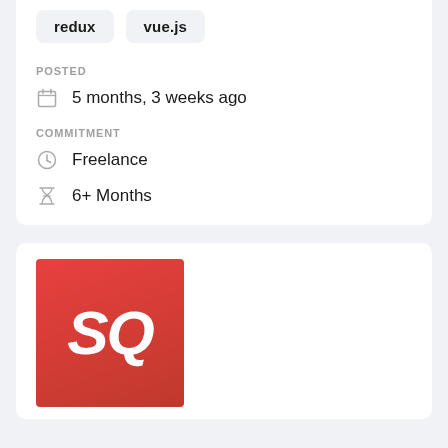redux
vue.js
POSTED
5 months, 3 weeks ago
COMMITMENT
Freelance
6+ Months
[Figure (logo): SQ logo — bold italic white letters 'SQ' on a red-to-crimson gradient square background]